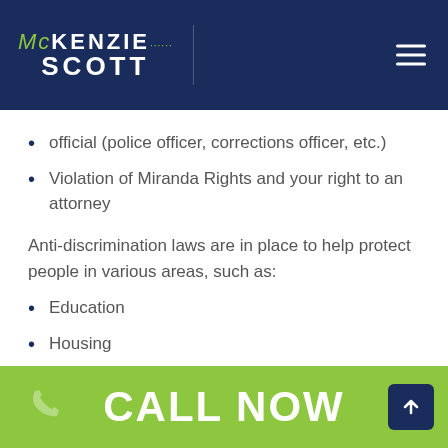[Figure (logo): McKenzie Scott law firm logo on dark navy header with hamburger menu icon]
official (police officer, corrections officer, etc.)
Violation of Miranda Rights and your right to an attorney
Anti-discrimination laws are in place to help protect people in various areas, such as:
Education
Housing
Employment
Public accommodations
CALL NOW